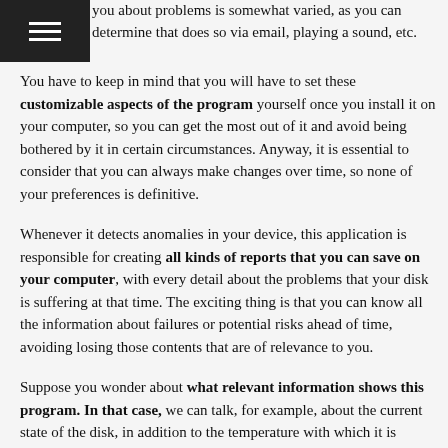you about problems is somewhat varied, as you can determine that does so via email, playing a sound, etc.
You have to keep in mind that you will have to set these customizable aspects of the program yourself once you install it on your computer, so you can get the most out of it and avoid being bothered by it in certain circumstances. Anyway, it is essential to consider that you can always make changes over time, so none of your preferences is definitive.
Whenever it detects anomalies in your device, this application is responsible for creating all kinds of reports that you can save on your computer, with every detail about the problems that your disk is suffering at that time. The exciting thing is that you can know all the information about failures or potential risks ahead of time, avoiding losing those contents that are of relevance to you.
Suppose you wonder about what relevant information shows this program. In that case, we can talk, for example, about the current state of the disk, in addition to the temperature with which it is working the same, the resources you have available, and the space you also have available. As you can see, the exciting thing about the case is that thanks to a single platform, you can access a